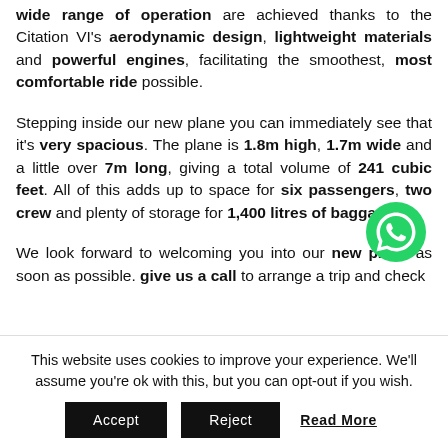wide range of operation are achieved thanks to the Citation VI's aerodynamic design, lightweight materials and powerful engines, facilitating the smoothest, most comfortable ride possible.
Stepping inside our new plane you can immediately see that it's very spacious. The plane is 1.8m high, 1.7m wide and a little over 7m long, giving a total volume of 241 cubic feet. All of this adds up to space for six passengers, two crew and plenty of storage for 1,400 litres of bagga[ge]
We look forward to welcoming you into our new plane as soon as possible. give us a call to arrange a trip and check
This website uses cookies to improve your experience. We'll assume you're ok with this, but you can opt-out if you wish.